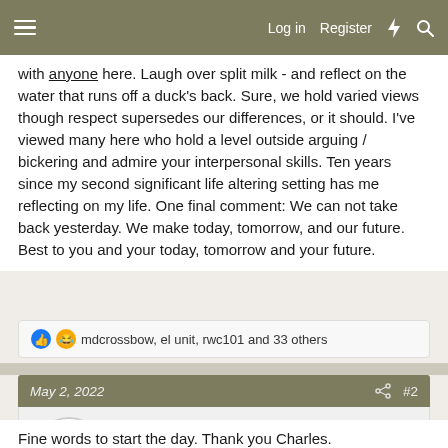Log in  Register
with anyone here. Laugh over split milk - and reflect on the water that runs off a duck's back. Sure, we hold varied views though respect supersedes our differences, or it should. I've viewed many here who hold a level outside arguing / bickering and admire your interpersonal skills. Ten years since my second significant life altering setting has me reflecting on my life. One final comment: We can not take back yesterday. We make today, tomorrow, and our future. Best to you and your today, tomorrow and your future.
mdcrossbow, el unit, rwc101 and 33 others
May 2, 2022  #2
JLS
Well-known member
Fine words to start the day. Thank you Charles.